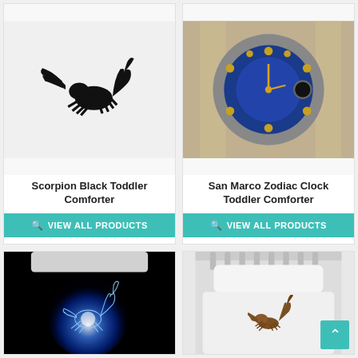[Figure (photo): Scorpion Black Toddler Comforter product image - black scorpion illustration on white fabric]
Scorpion Black Toddler Comforter
VIEW ALL PRODUCTS
[Figure (photo): San Marco Zodiac Clock Toddler Comforter product image - ornate blue and gold zodiac clock face]
San Marco Zodiac Clock Toddler Comforter
VIEW ALL PRODUCTS
[Figure (photo): Glowing blue scorpion on black background - toddler comforter product image]
[Figure (photo): Real scorpion on white crib bedding - toddler comforter product image with back-to-top button]